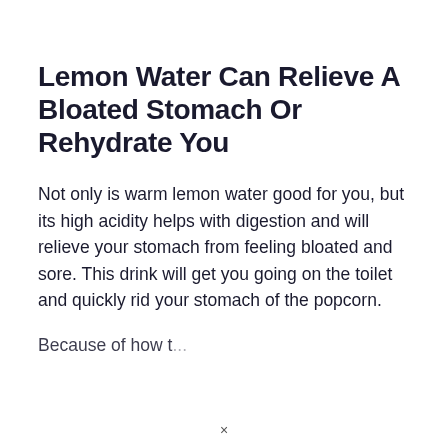Lemon Water Can Relieve A Bloated Stomach Or Rehydrate You
Not only is warm lemon water good for you, but its high acidity helps with digestion and will relieve your stomach from feeling bloated and sore. This drink will get you going on the toilet and quickly rid your stomach of the popcorn.
Because of how...